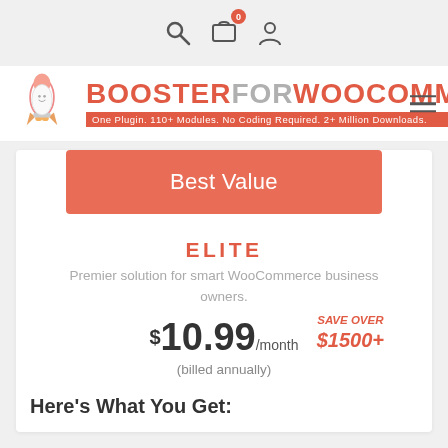[Figure (logo): Booster for WooCommerce logo with rocket icon and tagline: One Plugin. 110+ Modules. No Coding Required. 2+ Million Downloads.]
Best Value
ELITE
Premier solution for smart WooCommerce business owners.
SAVE OVER $1500+
$10.99/month (billed annually)
Here's What You Get: